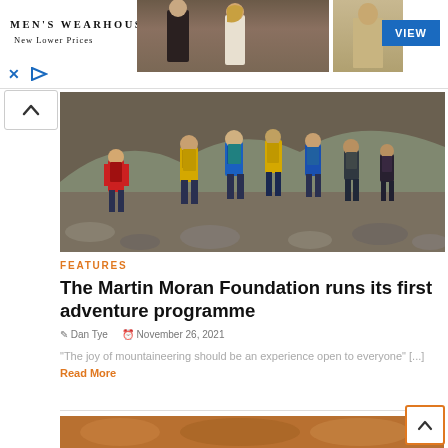[Figure (photo): Men's Wearhouse advertisement banner showing a couple in wedding attire and a man in a suit, with a blue VIEW button]
[Figure (photo): Group of hikers wearing colorful jackets with backpacks walking across a rocky mountain terrain]
FEATURES
The Martin Moran Foundation runs its first adventure programme
Dan Tye   November 26, 2021
"The joy of mountaineering should be an experience open to everyone" [...] Read More
[Figure (photo): Bottom partial image showing orange/brown tones, partially visible outdoor scene]